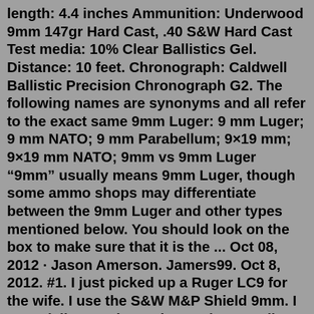length: 4.4 inches Ammunition: Underwood 9mm 147gr Hard Cast, .40 S&W Hard Cast Test media: 10% Clear Ballistics Gel. Distance: 10 feet. Chronograph: Caldwell Ballistic Precision Chronograph G2. The following names are synonyms and all refer to the exact same 9mm Luger: 9 mm Luger; 9 mm NATO; 9 mm Parabellum; 9×19 mm; 9×19 mm NATO; 9mm vs 9mm Luger “9mm” usually means 9mm Luger, though some ammo shops may differentiate between the 9mm Luger and other types mentioned below. You should look on the box to make sure that it is the ... Oct 08, 2012 · Jason Amerson. Jamers99. Oct 8, 2012. #1. I just picked up a Ruger LC9 for the wife. I use the S&W M&P Shield 9mm. I especially want her to have a low recoil 9mm round that still has good Personal Defense properties. After hours of reading the ongoing debate I am still confused on exactly how grain weight and velocity affects recoil. Jul 11, 2015 · 4,387 Posts. #15 · Jul 15, 2015. As 124 tends to be the standard bullet weight in Europe, almost all 9mm ammo is designed with that in mind, thus I...